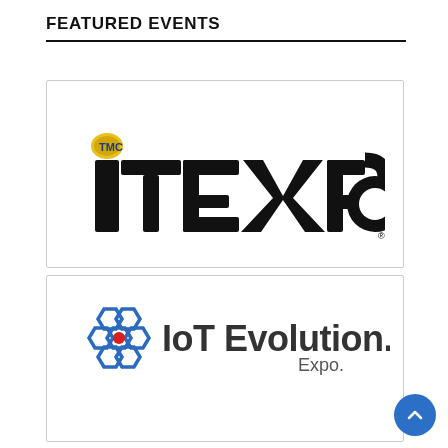FEATURED EVENTS
[Figure (logo): ITEXPO logo — large bold black letters 'ITEXPO' with a small circular logo mark above the 'i', on white background]
[Figure (logo): IoT Evolution Expo logo — blue hexagonal honeycomb icon with red center dot, followed by 'IoT Evolution. Expo.' text in dark gray]